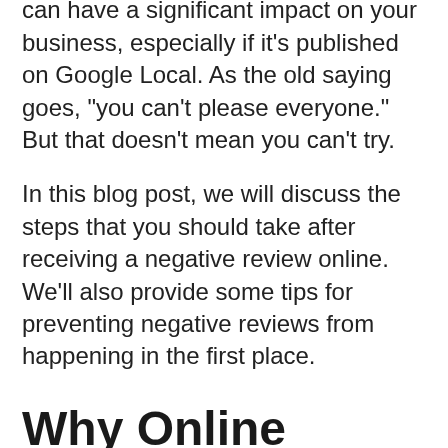important. A single negative review can have a significant impact on your business, especially if it's published on Google Local. As the old saying goes, "you can't please everyone." But that doesn't mean you can't try.
In this blog post, we will discuss the steps that you should take after receiving a negative review online. We'll also provide some tips for preventing negative reviews from happening in the first place.
Why Online Reviews Matter
Online reviews are important for two reasons. First, they provide potential customers with